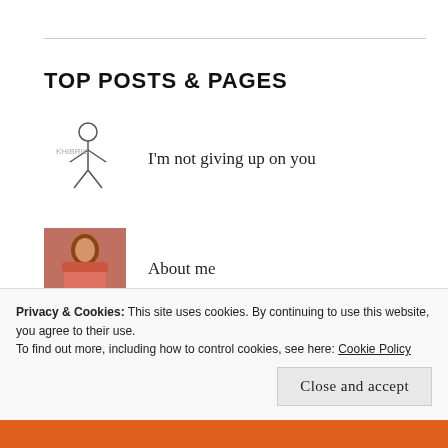TOP POSTS & PAGES
I'm not giving up on you
About me
I live here
Basket of Dreams
Privacy & Cookies: This site uses cookies. By continuing to use this website, you agree to their use.
To find out more, including how to control cookies, see here: Cookie Policy
Close and accept